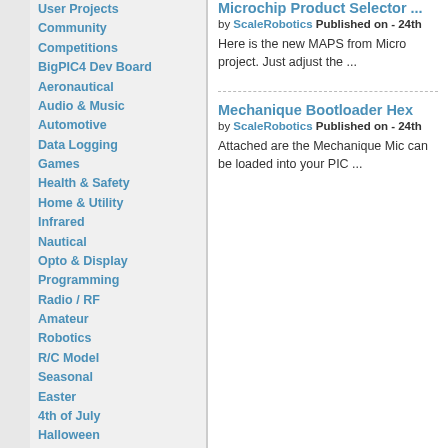User Projects
Community
Competitions
BigPIC4 Dev Board
Aeronautical
Audio & Music
Automotive
Data Logging
Games
Health & Safety
Home & Utility
Infrared
Nautical
Opto & Display
Programming
Radio / RF
Amateur
Robotics
R/C Model
Seasonal
Easter
4th of July
Halloween
Guy Fawkes
Christmas
New Year
Solar
Temperature
Test & Measurement
Microchip Product Selector ...
by ScaleRobotics Published on - 24th
Here is the new MAPS from Micro project. Just adjust the ...
Mechanique Bootloader Hex
by ScaleRobotics Published on - 24th
Attached are the Mechanique Mic can be loaded into your PIC ...